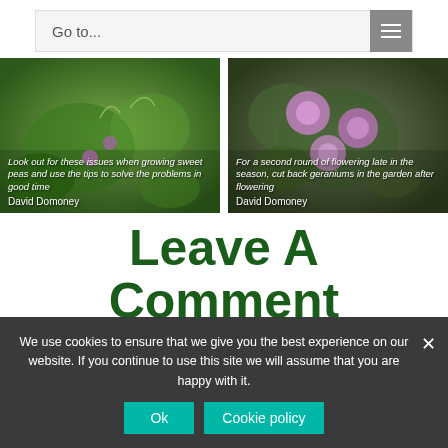Go to...
[Figure (photo): Gardening blog card showing sweet peas plant with text overlay: 'Look out for these issues when growing sweet peas and use the tips to solve the problems in good time' - David Domoney]
[Figure (photo): Gardening blog card showing pink geranium flowers with text overlay: 'For a second round of flowering late in the season, cut back geraniums in the garden after flowering' - David Domoney]
Leave A Comment
Comment...
We use cookies to ensure that we give you the best experience on our website. If you continue to use this site we will assume that you are happy with it.
Ok
Cookie policy